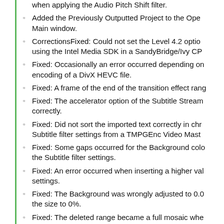when applying the Audio Pitch Shift filter.
Added the Previously Outputted Project to the Open Main window.
CorrectionsFixed: Could not set the Level 4.2 option using the Intel Media SDK in a SandyBridge/Ivy CPU
Fixed: Occasionally an error occurred depending on encoding of a DivX HEVC file.
Fixed: A frame of the end of the transition effect rang
Fixed: The accelerator option of the Subtitle Stream correctly.
Fixed: Did not sort the imported text correctly in chro Subtitle filter settings from a TMPGEnc Video Maste
Fixed: Some gaps occurred for the Background colo the Subtitle filter settings.
Fixed: An error occurred when inserting a higher val settings.
Fixed: The Background was wrongly adjusted to 0.0 the size to 0%.
Fixed: The deleted range became a full mosaic whe window was deleted.
Fixed: The current Post-Output Process setting disp when the Post-Output Process setting was set.
Fixed: A warning dialog window appeared when lau and GP108 dai GPU environments in spite of the fa NVENC encoder.
Fixed: Occasionally the application could not respon Remap filter to a split clip depending on the speed s
Other corrections.